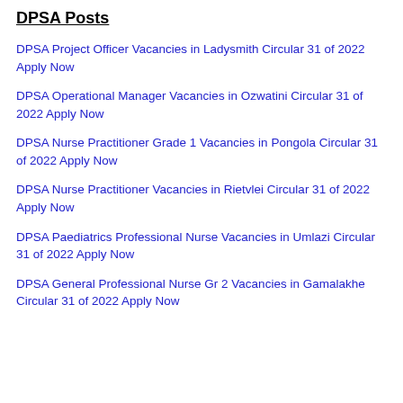DPSA Posts
DPSA Project Officer Vacancies in Ladysmith Circular 31 of 2022 Apply Now
DPSA Operational Manager Vacancies in Ozwatini Circular 31 of 2022 Apply Now
DPSA Nurse Practitioner Grade 1 Vacancies in Pongola Circular 31 of 2022 Apply Now
DPSA Nurse Practitioner Vacancies in Rietvlei Circular 31 of 2022 Apply Now
DPSA Paediatrics Professional Nurse Vacancies in Umlazi Circular 31 of 2022 Apply Now
DPSA General Professional Nurse Gr 2 Vacancies in Gamalakhe Circular 31 of 2022 Apply Now